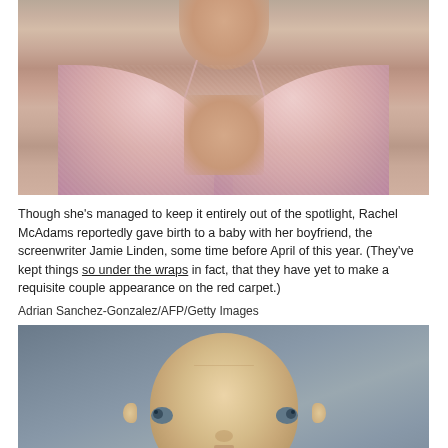[Figure (photo): Close-up photo of a woman's neck and upper chest wearing a pink sequined halter top bikini-style dress against a blurred background]
Though she's managed to keep it entirely out of the spotlight, Rachel McAdams reportedly gave birth to a baby with her boyfriend, the screenwriter Jamie Linden, some time before April of this year. (They've kept things so under the wraps in fact, that they have yet to make a requisite couple appearance on the red carpet.)
Adrian Sanchez-Gonzalez/AFP/Getty Images
[Figure (photo): Close-up photo of a bald baby looking at the camera with blue-grey eyes, against a grey background]